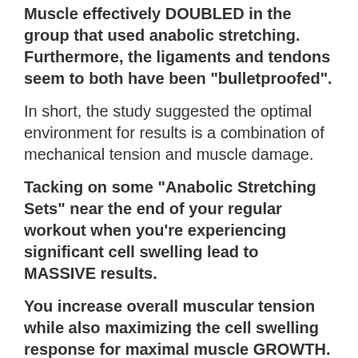Muscle effectively DOUBLED in the group that used anabolic stretching. Furthermore, the ligaments and tendons seem to both have been "bulletproofed".
In short, the study suggested the optimal environment for results is a combination of mechanical tension and muscle damage.
Tacking on some "Anabolic Stretching Sets" near the end of your regular workout when you're experiencing significant cell swelling lead to MASSIVE results.
You increase overall muscular tension while also maximizing the cell swelling response for maximal muscle GROWTH.
Gymnasts Have Been Experiencing